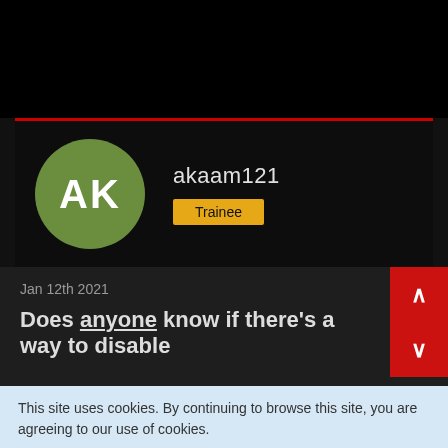[Figure (screenshot): User profile card with green avatar circle showing initials AK, username akaam121, and Trainee badge on dark background]
akaam121
Trainee
Jan 12th 2021
Does anyone know if there's a way to disable
This site uses cookies. By continuing to browse this site, you are agreeing to our use of cookies.
More Details
Close